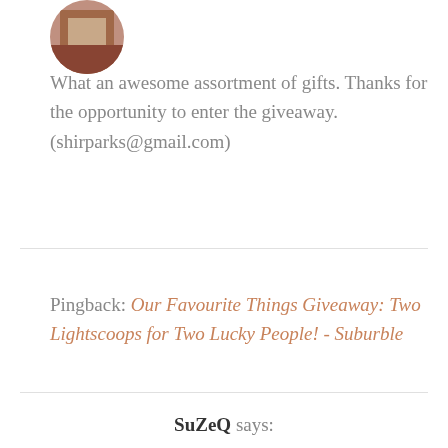[Figure (photo): Circular avatar/profile photo, partially cropped at top of page]
What an awesome assortment of gifts. Thanks for the opportunity to enter the giveaway. (shirparks@gmail.com)
Pingback: Our Favourite Things Giveaway: Two Lightscoops for Two Lucky People! - Suburble
SuZeQ says: